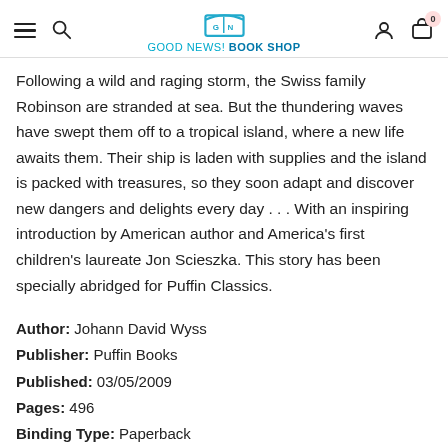GOOD NEWS! BOOK SHOP
Following a wild and raging storm, the Swiss family Robinson are stranded at sea. But the thundering waves have swept them off to a tropical island, where a new life awaits them. Their ship is laden with supplies and the island is packed with treasures, so they soon adapt and discover new dangers and delights every day . . . With an inspiring introduction by American author and America's first children's laureate Jon Scieszka. This story has been specially abridged for Puffin Classics.
Author: Johann David Wyss
Publisher: Puffin Books
Published: 03/05/2009
Pages: 496
Binding Type: Paperback
Weight: 0.70lbs